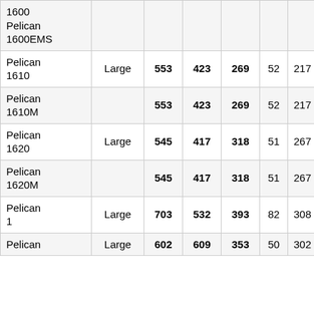| Model | Size | Col3 | Col4 | Col5 | Col6 | Col7 |
| --- | --- | --- | --- | --- | --- | --- |
| 1600
Pelican 1600EMS |  |  |  |  |  |  |
| Pelican 1610 | Large | 553 | 423 | 269 | 52 | 217 |
| Pelican 1610M |  | 553 | 423 | 269 | 52 | 217 |
| Pelican 1620 | Large | 545 | 417 | 318 | 51 | 267 |
| Pelican 1620M |  | 545 | 417 | 318 | 51 | 267 |
| Pelican 1* | Large | 703 | 532 | 393 | 82 | 308 |
| Pelican | Large | 602 | 609 | 353 | 50 | 302 |